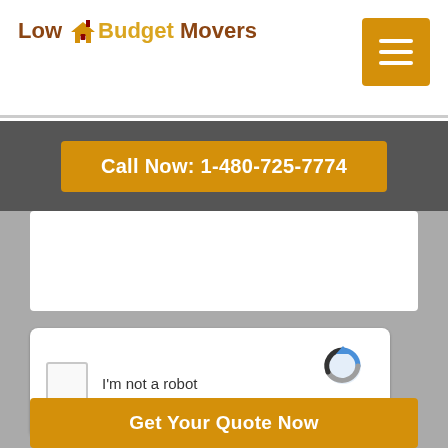Low Budget Movers
Call Now: 1-480-725-7774
[Figure (screenshot): reCAPTCHA widget with checkbox labeled 'I'm not a robot' and reCAPTCHA logo with Privacy and Terms links]
Get Your Quote Now